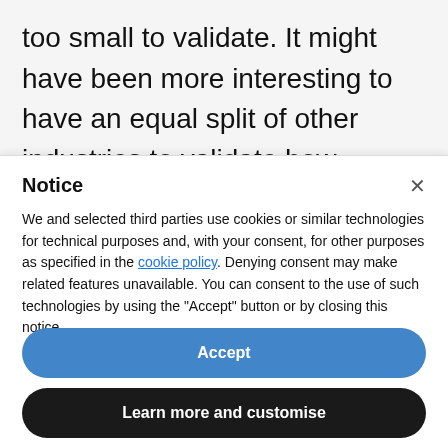too small to validate. It might have been more interesting to have an equal split of other industries to validate how mature they are. It also isn't clear what size of companies the respondents
Notice
We and selected third parties use cookies or similar technologies for technical purposes and, with your consent, for other purposes as specified in the cookie policy. Denying consent may make related features unavailable. You can consent to the use of such technologies by using the "Accept" button or by closing this notice.
Accept
Learn more and customise